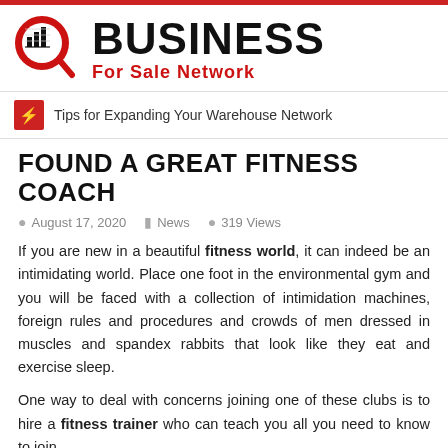[Figure (logo): Business For Sale Network logo with magnifying glass icon containing bar chart, red and black colors]
Tips for Expanding Your Warehouse Network
FOUND A GREAT FITNESS COACH
August 17, 2020   News   319 Views
If you are new in a beautiful fitness world, it can indeed be an intimidating world. Place one foot in the environmental gym and you will be faced with a collection of intimidation machines, foreign rules and procedures and crowds of men dressed in muscles and spandex rabbits that look like they eat and exercise sleep.
One way to deal with concerns joining one of these clubs is to hire a fitness trainer who can teach you all you need to know to join